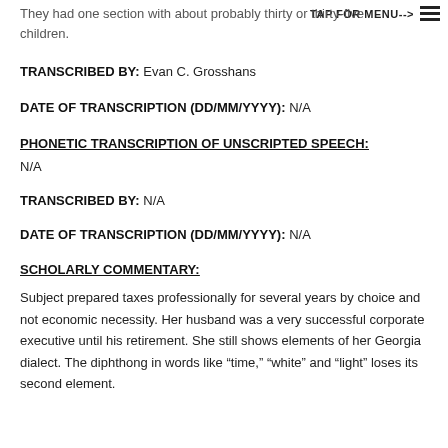They had one section with about probably thirty or thirty-five children.
TAP FOR MENU-->
TRANSCRIBED BY: Evan C. Grosshans
DATE OF TRANSCRIPTION (DD/MM/YYYY): N/A
PHONETIC TRANSCRIPTION OF UNSCRIPTED SPEECH:
N/A
TRANSCRIBED BY: N/A
DATE OF TRANSCRIPTION (DD/MM/YYYY): N/A
SCHOLARLY COMMENTARY:
Subject prepared taxes professionally for several years by choice and not economic necessity. Her husband was a very successful corporate executive until his retirement. She still shows elements of her Georgia dialect. The diphthong in words like “time,” “white” and “light” loses its second element.